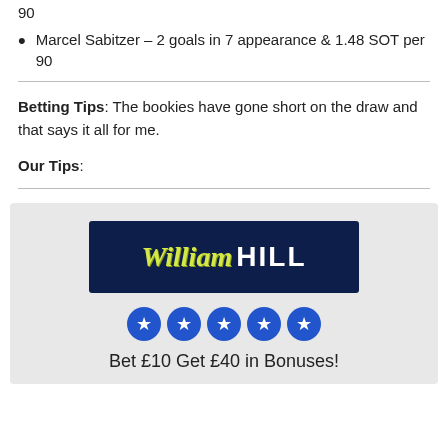90
Marcel Sabitzer – 2 goals in 7 appearance & 1.48 SOT per 90
Betting Tips: The bookies have gone short on the draw and that says it all for me.
Our Tips:
[Figure (logo): William Hill betting company logo and promotional banner with 5-star rating and text 'Bet £10 Get £40 in Bonuses!']